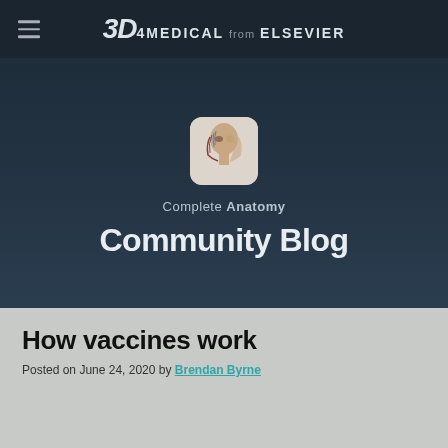3D4MEDICAL from ELSEVIER
[Figure (logo): Complete Anatomy app icon showing 3D human head with musculature]
Complete Anatomy
Community Blog
How vaccines work
Posted on June 24, 2020 by Brendan Byrne
[Figure (photo): 3D medical illustration of human anatomy structure against dark background]